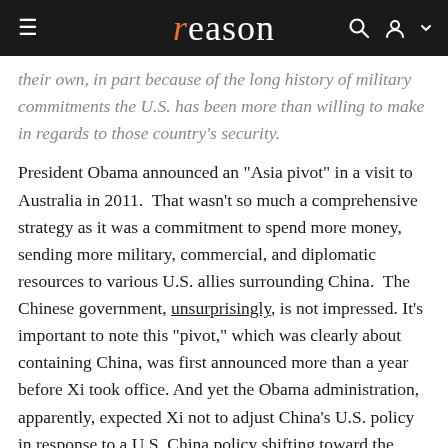reason
their own, in part because of the long history of military commitments the U.S. has been more than willing to make in regards to those country's security.
President Obama announced an "Asia pivot" in a visit to Australia in 2011. That wasn't so much a comprehensive strategy as it was a commitment to spend more money, sending more military, commercial, and diplomatic resources to various U.S. allies surrounding China. The Chinese government, unsurprisingly, is not impressed. It's important to note this "pivot," which was clearly about containing China, was first announced more than a year before Xi took office. And yet the Obama administration, apparently, expected Xi not to adjust China's U.S. policy in response to a U.S. China policy shifting toward the more confrontational. These are the people in charge of foreign policy.